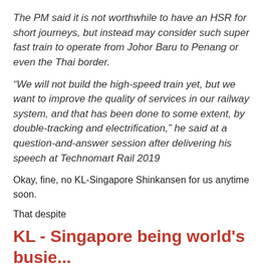The PM said it is not worthwhile to have an HSR for short journeys, but instead may consider such super fast train to operate from Johor Baru to Penang or even the Thai border.
“We will not build the high-speed train yet, but we want to improve the quality of services in our railway system, and that has been done to some extent, by double-tracking and electrification,” he said at a question-and-answer session after delivering his speech at Technomart Rail 2019
Okay, fine, no KL-Singapore Shinkansen for us anytime soon.
That despite
KL - Singapore being world's busie... international flight route